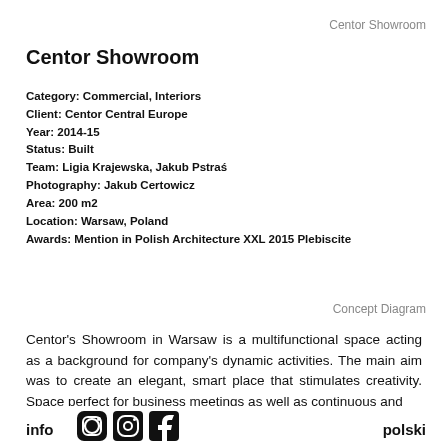Centor Showroom
Centor Showroom
Category: Commercial, Interiors
Client: Centor Central Europe
Year: 2014-15
Status: Built
Team: Ligia Krajewska, Jakub Pstraś
Photography: Jakub Certowicz
Area: 200 m2
Location: Warsaw, Poland
Awards: Mention in Polish Architecture XXL 2015 Plebiscite
Concept Diagram
Centor's Showroom in Warsaw is a multifunctional space acting as a background for company's dynamic activities. The main aim was to create an elegant, smart place that stimulates creativity. Space perfect for business meetings as well as continuous and
info   polski